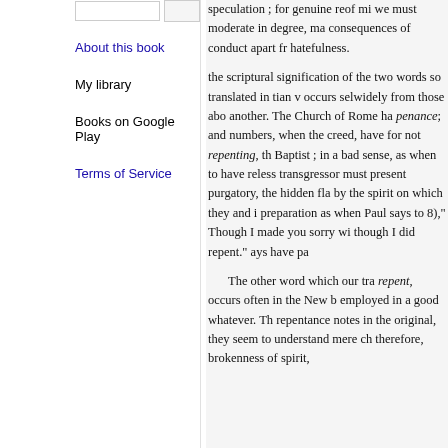About this book
My library
Books on Google Play
Terms of Service
speculation ; for genuine reof mi we must moderate in degree, ma consequences of conduct apart fr hatefulness.

the scriptural signification of the two words so translated in tian v occurs selwidely from those abo another. The Church of Rome ha penance ; and numbers, when the creed, have for not repenting, th Baptist ; in a bad sense, as when to have reless transgressor must present purgatory, the hidden fla by the spirit on which they and i preparation as when Paul says to 8)," Though I made you sorry wi though I did repent." ays have pa

The other word which our tra repent, occurs often in the New b employed in a good whatever. Th repentance notes in the original, they seem to understand mere ch therefore, brokenness of spirit,